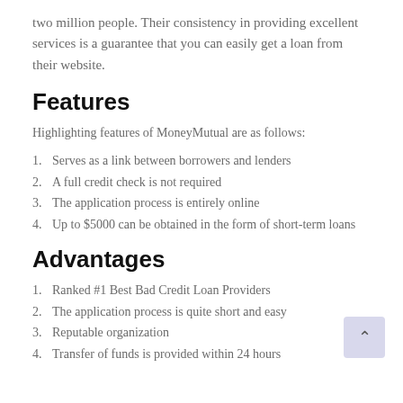two million people. Their consistency in providing excellent services is a guarantee that you can easily get a loan from their website.
Features
Highlighting features of MoneyMutual are as follows:
1. Serves as a link between borrowers and lenders
2. A full credit check is not required
3. The application process is entirely online
4. Up to $5000 can be obtained in the form of short-term loans
Advantages
1. Ranked #1 Best Bad Credit Loan Providers
2. The application process is quite short and easy
3. Reputable organization
4. Transfer of funds is provided within 24 hours